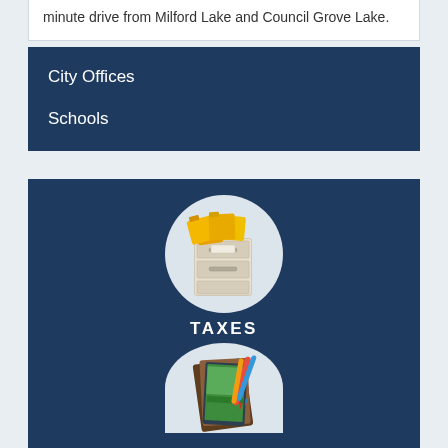minute drive from Milford Lake and Council Grove Lake.
City Offices
Schools
[Figure (illustration): Filing cabinet icon with yellow folders on top, inside a light circular background, labeled TAXES below]
[Figure (illustration): Tablet/phone with colorful pens/styluses icon inside a light circular background, partially visible at bottom]